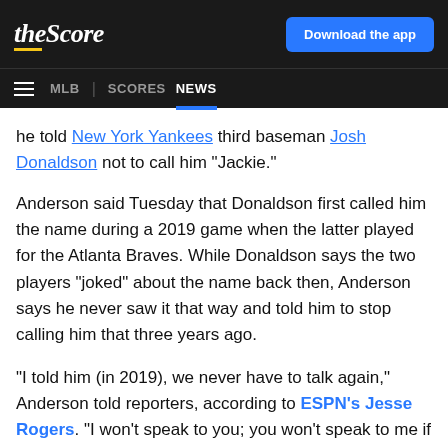theScore | Download the app | MLB | SCORES | NEWS
he told New York Yankees third baseman Josh Donaldson not to call him "Jackie."
Anderson said Tuesday that Donaldson first called him the name during a 2019 game when the latter played for the Atlanta Braves. While Donaldson says the two players "joked" about the name back then, Anderson says he never saw it that way and told him to stop calling him that three years ago.
"I told him (in 2019), we never have to talk again," Anderson told reporters, according to ESPN's Jesse Rogers. "I won't speak to you; you won't speak to me if that's how you're going to refer to me. I knew he knew exactly what he was doing (in New York)."
He added that Donaldson didn't apologize to him either...